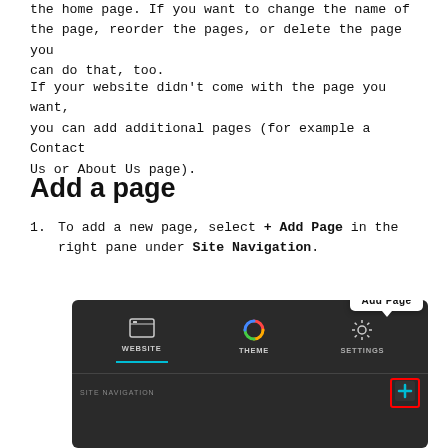the home page. If you want to change the name of the page, reorder the pages, or delete the page you can do that, too.
If your website didn't come with the page you want, you can add additional pages (for example a Contact Us or About Us page).
Add a page
1. To add a new page, select + Add Page in the right pane under Site Navigation.
[Figure (screenshot): Screenshot of a website builder interface showing WEBSITE, THEME, and SETTINGS tabs with a dark background. An 'Add Page' tooltip bubble appears above a highlighted plus button. Below shows the SITE NAVIGATION section.]